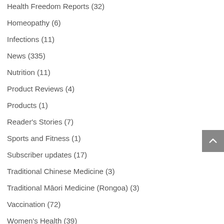Health Freedom Reports (32)
Homeopathy (6)
Infections (11)
News (335)
Nutrition (11)
Product Reviews (4)
Products (1)
Reader's Stories (7)
Sports and Fitness (1)
Subscriber updates (17)
Traditional Chinese Medicine (3)
Traditional Māori Medicine (Rongoa) (3)
Vaccination (72)
Women's Health (39)
Links